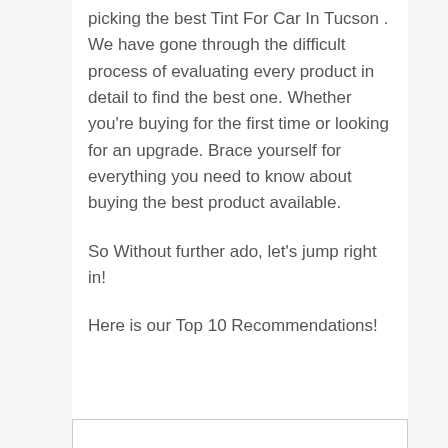picking the best Tint For Car In Tucson . We have gone through the difficult process of evaluating every product in detail to find the best one. Whether you're buying for the first time or looking for an upgrade. Brace yourself for everything you need to know about buying the best product available.
So Without further ado, let's jump right in!
Here is our Top 10 Recommendations!